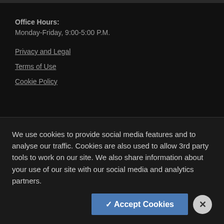Office Hours:
Monday-Friday, 9:00-5:00 P.M.
Privacy and Legal
Terms of Use
Cookie Policy
Sign Up for Our Newsletters
We use cookies to provide social media features and to analyse our traffic. Cookies are also used to allow 3rd party tools to work on our site. We also share information about your use of our site with our social media and analytics partners.
✓ Accept Cookies